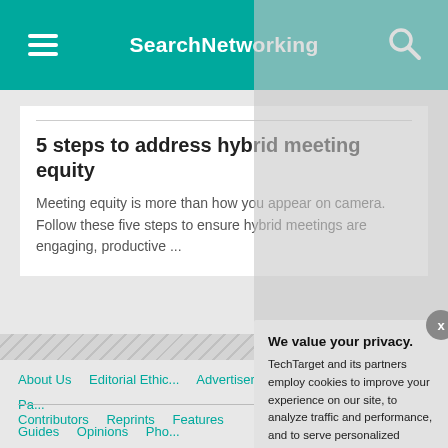SearchNetworking
5 steps to address hybrid meeting equity
Meeting equity is more than how you appear on camera. Follow these five steps to ensure hybrid meetings are engaging, productive ...
About Us   Editorial Ethic...   Advertisers   Business Pa...
Contributors   Reprints   Features
Guides   Opinions   Pho...
We value your privacy. TechTarget and its partners employ cookies to improve your experience on our site, to analyze traffic and performance, and to serve personalized content and advertising that are relevant to your professional interests. You can manage your settings at any time. Please view our Privacy Policy for more information